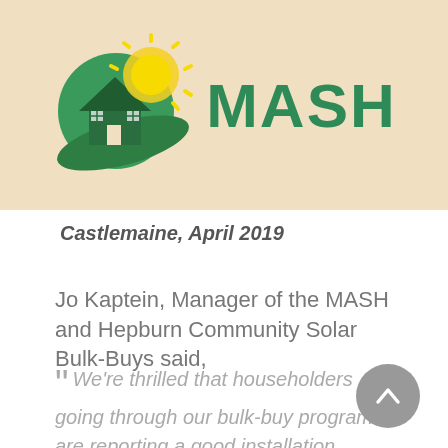[Figure (logo): MASH logo — green house with yellow sun and green swoosh, with the text MASH in green beside it]
Castlemaine, April 2019
Jo Kaptein, Manager of the MASH and Hepburn Community Solar Bulk-Buys said,
“ We’re thrilled that householders going through our bulk-buy programs are reporting a good installation